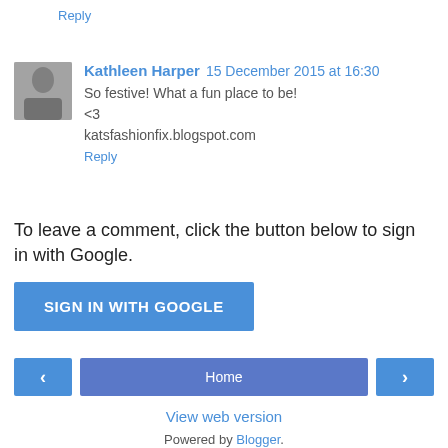Reply
Kathleen Harper  15 December 2015 at 16:30
So festive! What a fun place to be!
<3
katsfashionfix.blogspot.com
Reply
To leave a comment, click the button below to sign in with Google.
SIGN IN WITH GOOGLE
‹
Home
›
View web version
Powered by Blogger.